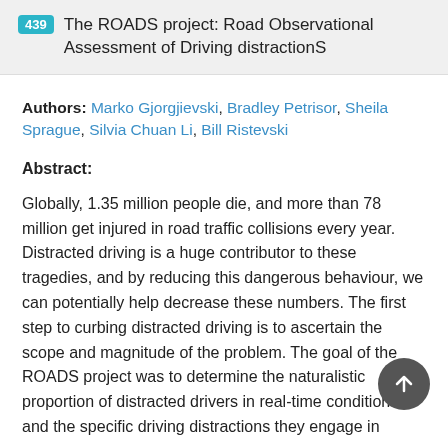439 The ROADS project: Road Observational Assessment of Driving distractionS
Authors: Marko Gjorgjievski, Bradley Petrisor, Sheila Sprague, Silvia Chuan Li, Bill Ristevski
Abstract:
Globally, 1.35 million people die, and more than 78 million get injured in road traffic collisions every year. Distracted driving is a huge contributor to these tragedies, and by reducing this dangerous behaviour, we can potentially help decrease these numbers. The first step to curbing distracted driving is to ascertain the scope and magnitude of the problem. The goal of the ROADS project was to determine the naturalistic proportion of distracted drivers in real-time conditions and the specific driving distractions they engage in